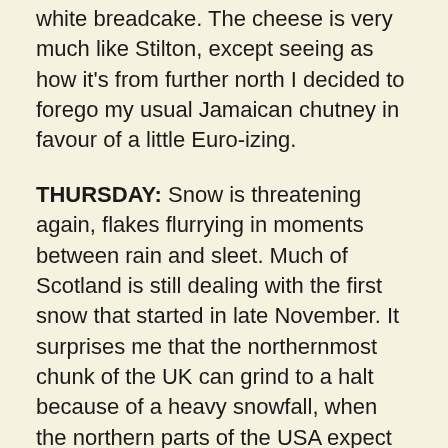white breadcake. The cheese is very much like Stilton, except seeing as how it's from further north I decided to forego my usual Jamaican chutney in favour of a little Euro-izing.
THURSDAY: Snow is threatening again, flakes flurrying in moments between rain and sleet. Much of Scotland is still dealing with the first snow that started in late November. It surprises me that the northernmost chunk of the UK can grind to a halt because of a heavy snowfall, when the northern parts of the USA expect snow and treat it as a part of winter life. Take Chicago, for example. At a latitude of 42 degrees North, which is 9 degrees south of London, Chicago's typical winter involves 38 inches (94 centimetres) of snow falling anywhere from October to May, so the city is well prepared to deal with it. Even the natives of Seattle, only 5 degrees further north, seem to be a snow-hardy lot.
When I first moved to the UK I was expecting snowy winters, especially as London is 4 degrees closer to the North Pole than Seattle -- and my current home of Sheffield is another 4 degrees closer still. Sorry, London. Even Milli...